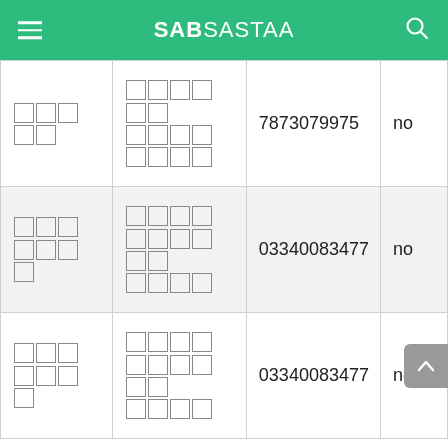SABSASTAA
| col1 | col2 | col3 | col4 |
| --- | --- | --- | --- |
| [glyphs] | [glyphs] | 7873079975 | no |
| [glyphs] | [glyphs] | 03340083477 | no |
| [glyphs] | [glyphs] | 03340083477 | no |